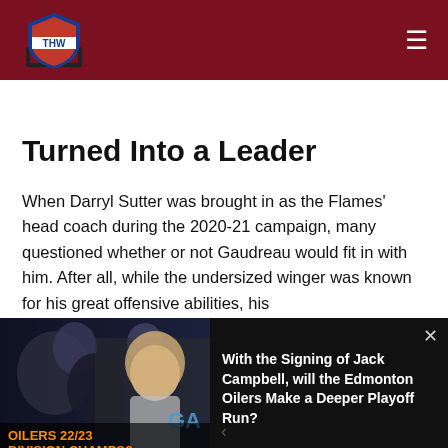THW - The Hockey Writers
Turned Into a Leader
When Darryl Sutter was brought in as the Flames' head coach during the 2020-21 campaign, many questioned whether or not Gaudreau would fit in with him. After all, while the undersized winger was known for his great offensive abilities, his
[Figure (screenshot): Video popup overlay showing a hockey news video thumbnail with text 'OILERS 22/23 DIVISION CHAMPS?' and a presenter. Right side shows title: 'With the Signing of Jack Campbell, will the Edmonton Oilers Make a Deeper Playoff Run?']
seemed overly committed to improving his two-way game,